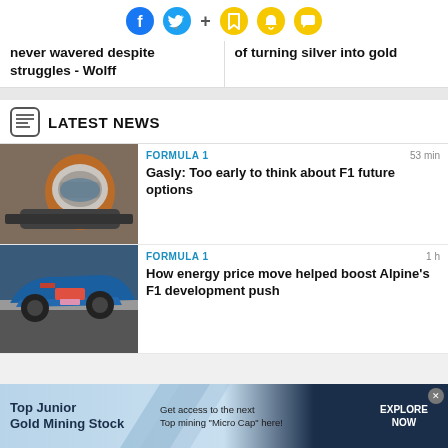[Figure (infographic): Social media icons: Facebook (blue), Twitter (cyan), plus sign, bookmark (yellow), bell (yellow), chat (yellow)]
never wavered despite struggles - Wolff
of turning silver into gold
LATEST NEWS
[Figure (photo): F1 driver wearing an orange and white helmet inside a race car cockpit]
FORMULA 1   53 min
Gasly: Too early to think about F1 future options
[Figure (photo): Blue Alpine F1 car on track during a race]
FORMULA 1   1 h
How energy price move helped boost Alpine's F1 development push
Top Junior Gold Mining Stock   Get access to the next Top mining "Micro Cap" here!   EXPLORE NOW